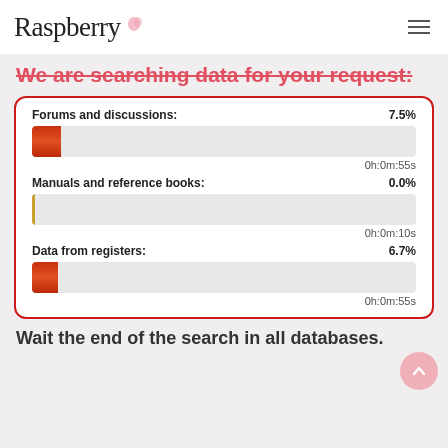Raspberry
We are searching data for your request:
[Figure (infographic): A card with three progress bars showing search status: Forums and discussions 7.5% (0h:0m:55s), Manuals and reference books 0.0% (0h:0m:10s), Data from registers 6.7% (0h:0m:55s)]
Wait the end of the search in all databases.